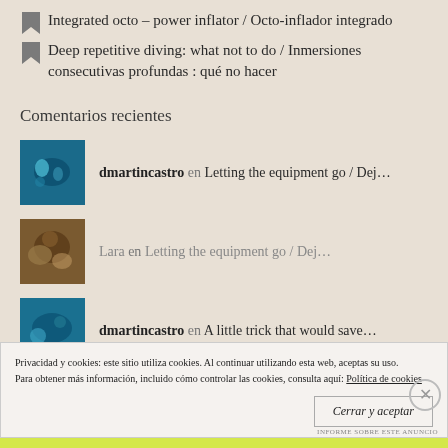Integrated octo – power inflator / Octo-inflador integrado
Deep repetitive diving: what not to do / Inmersiones consecutivas profundas : qué no hacer
Comentarios recientes
dmartincastro en Letting the equipment go / Dej…
Lara en Letting the equipment go / Dej…
dmartincastro en A little trick that would save…
Privacidad y cookies: este sitio utiliza cookies. Al continuar utilizando esta web, aceptas su uso.
Para obtener más información, incluido cómo controlar las cookies, consulta aquí: Política de cookies
Cerrar y aceptar